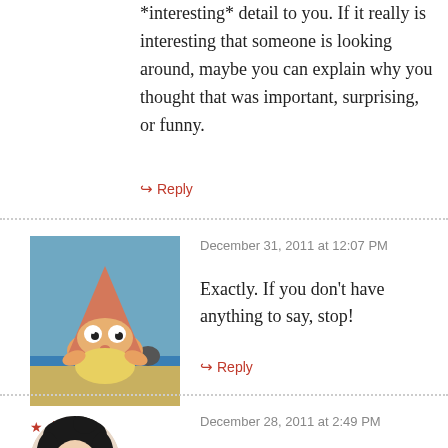*interesting* detail to you. If it really is interesting that someone is looking around, maybe you can explain why you thought that was important, surprising, or funny.
↪ Reply
December 31, 2011 at 12:07 PM
[Figure (photo): Avatar image of a cartoon character (Patrick Star styled bird) on a beach background]
★ draggle
Exactly. If you don't have anything to say, stop!
↪ Reply
December 28, 2011 at 2:49 PM
[Figure (photo): Partial avatar image of a person with dark hair and glasses]